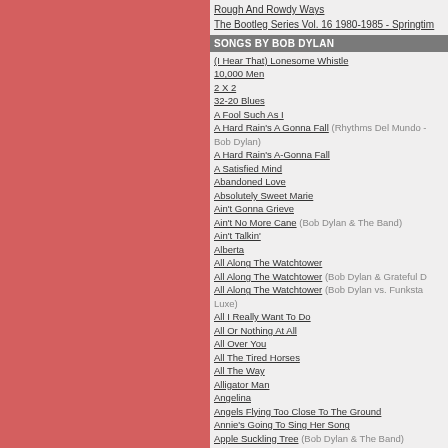Rough And Rowdy Ways
The Bootleg Series Vol. 16 1980-1985 - Springtime...
SONGS BY BOB DYLAN
(I Hear That) Lonesome Whistle
10,000 Men
2 X 2
32-20 Blues
A Fool Such As I
A Hard Rain's A Gonna Fall (Rhythms Del Mundo - Bob Dylan)
A Hard Rain's A-Gonna Fall
A Satisfied Mind
Abandoned Love
Absolutely Sweet Marie
Ain't Gonna Grieve
Ain't No More Cane (Bob Dylan & The Band)
Ain't Talkin'
Alberta
All Along The Watchtower
All Along The Watchtower (Bob Dylan & Grateful Dead)
All Along The Watchtower (Bob Dylan vs. Funkstа Luxe)
All I Really Want To Do
All Or Nothing At All
All Over You
All The Tired Horses
All The Way
Alligator Man
Angelina
Angels Flying Too Close To The Ground
Annie's Going To Sing Her Song
Apple Suckling Tree (Bob Dylan & The Band)
Are You Ready
Arthur McBride
As I Went Out One Morning
As Time Goes By